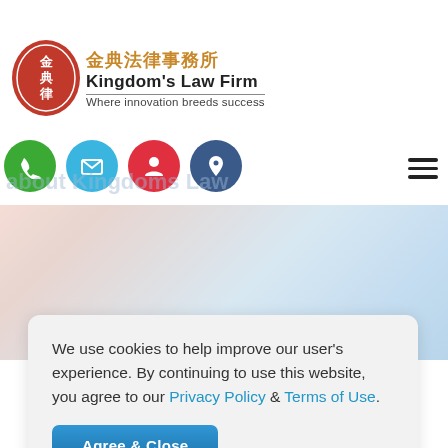[Figure (screenshot): Kingdom's Law Firm website header screenshot showing logo, navigation icons, and hero gradient section with cookie consent dialog]
Kingdom's Law Firm
金典法律事務所
Where innovation breeds success
We use cookies to help improve our user's experience. By continuing to use this website, you agree to our Privacy Policy & Terms of Use.